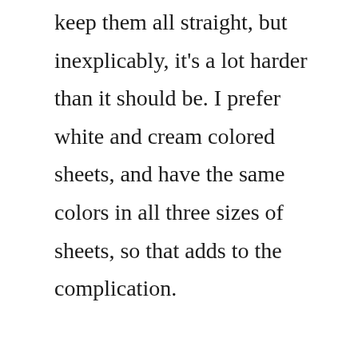keep them all straight, but inexplicably, it's a lot harder than it should be. I prefer white and cream colored sheets, and have the same colors in all three sizes of sheets, so that adds to the complication.